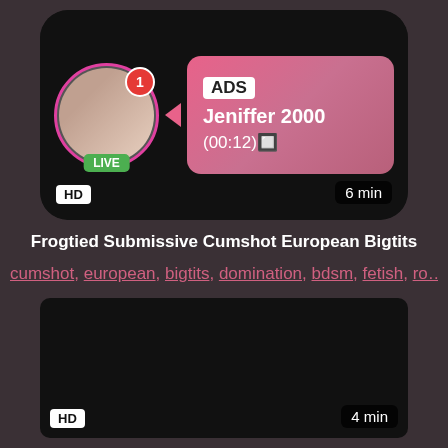[Figure (screenshot): Ad banner with live profile photo, LIVE badge, notification badge, ADS label, username Jeniffer 2000, timestamp (00:12)]
HD
6 min
Frogtied Submissive Cumshot European Bigtits
cumshot, european, bigtits, domination, bdsm, fetish, ro...
[Figure (screenshot): Dark video thumbnail, second video card]
HD
4 min